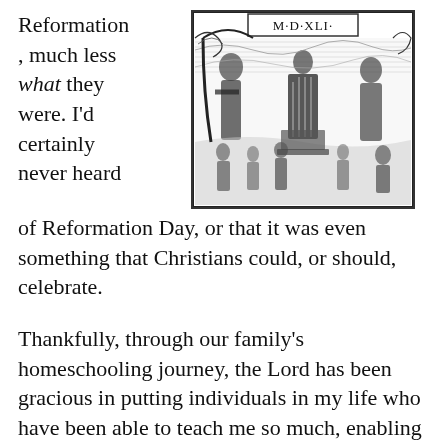Reformation , much less what they were. I'd certainly never heard of Reformation Day, or that it was even something that Christians could, or should, celebrate.
[Figure (illustration): A woodcut illustration dated M.D.XLI. (1541) showing a religious scene with multiple figures in robes and elaborate decorative elements. The date appears in a rectangular banner at the top.]
Thankfully, through our family's homeschooling journey, the Lord has been gracious in putting individuals in my life who have been able to teach me so much, enabling me to bring up my son with a far greater knowledge regarding theology and Biblical